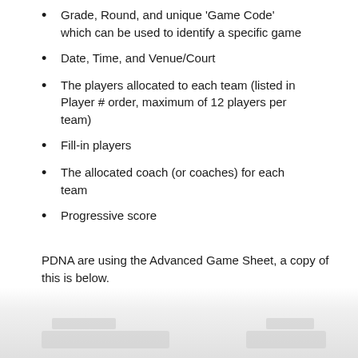Grade, Round, and unique 'Game Code' which can be used to identify a specific game
Date, Time, and Venue/Court
The players allocated to each team (listed in Player # order, maximum of 12 players per team)
Fill-in players
The allocated coach (or coaches) for each team
Progressive score
PDNA are using the Advanced Game Sheet, a copy of this is below.
[Figure (other): Blurred/redacted image of a game sheet document at the bottom of the page]